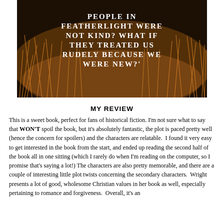[Figure (photo): A field of tall golden-orange grass/wheat in warm sunlight with dark background, overlaid with white bold serif text reading: 'PEOPLE IN FEATHERLIGHT WERE NOT KIND? WHAT IF THEY TREATED US RUDELY BECAUSE WE WERE NEW?']
MY REVIEW
This is a sweet book, perfect for fans of historical fiction. I'm not sure what to say that WON'T spoil the book, but it's absolutely fantastic, the plot is paced pretty well (hence the concern for spoilers) and the characters are relatable.  I found it very easy to get interested in the book from the start, and ended up reading the second half of the book all in one sitting (which I rarely do when I'm reading on the computer, so I promise that's saying a lot!) The characters are also pretty memorable, and there are a couple of interesting little plot twists concerning the secondary characters.  Wright presents a lot of good, wholesome Christian values in her book as well, especially pertaining to romance and forgiveness.  Overall, it's an